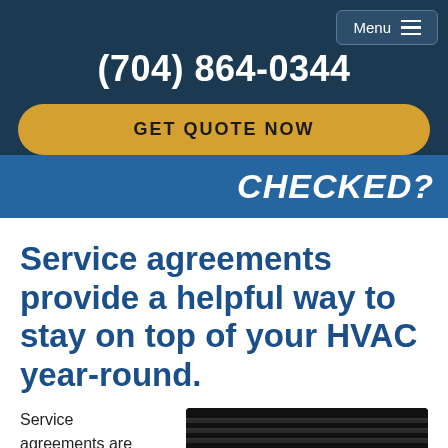Menu
(704) 864-0344
GET QUOTE NOW
CHECKED?
Service agreements provide a helpful way to stay on top of your HVAC year-round.
Service agreements are
[Figure (photo): Close-up photo of HVAC unit vents/grille, dark background]